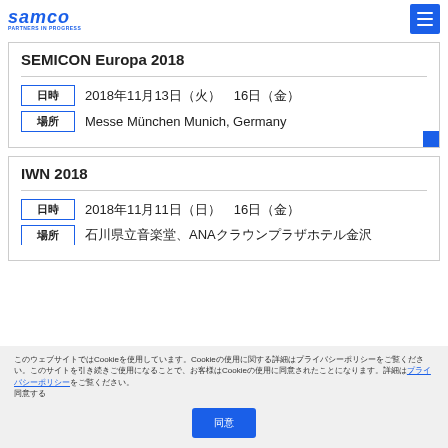SAMCO PARTNERS IN PROGRESS
SEMICON Europa 2018
| 日時 | 2018年11月13日（火）　16日（金） |
| 場所 | Messe München Munich, Germany |
IWN 2018
| 日時 | 2018年11月11日（日）　16日（金） |
| 場所 | 石川県立音楽堂、ANAクラウンプラザホテル金沢 |
このウェブサイトではCookieを使用しています。Cookieの使用に関する詳細はプライバシーポリシーをご覧ください。このサイトを引き続きご使用になることで、お客様はCookieの使用に同意されたことになります。詳細はプライバシーポリシーをご覧ください。同意する